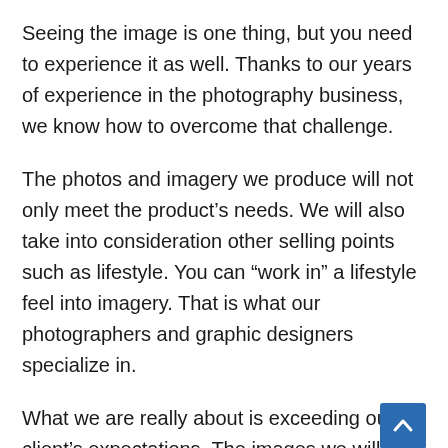Seeing the image is one thing, but you need to experience it as well. Thanks to our years of experience in the photography business, we know how to overcome that challenge.
The photos and imagery we produce will not only meet the product's needs. We will also take into consideration other selling points such as lifestyle. You can “work in” a lifestyle feel into imagery. That is what our photographers and graphic designers specialize in.
What we are really about is exceeding our client’s expectations. The images we will deliver to you will be unique and fully customized for their purpose.